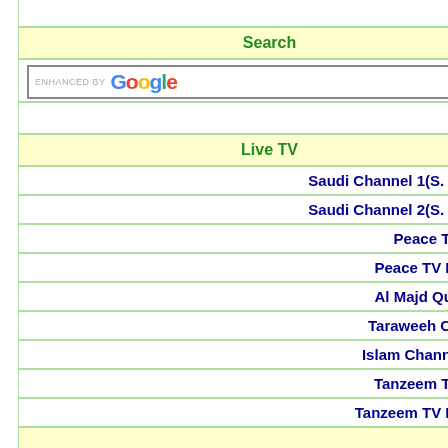Misc o
Search
[Figure (screenshot): Google search box with 'enhanced by Google' text and a Search button]
Live TV
Saudi Channel 1(S. Arabia) o
Saudi Channel 2(S. Arabia) o
Peace TV Urdu o
Peace TV English o
Al Majd Quran TV o
Taraweeh Channel o
Islam Channel (UK) o
Tanzeem TV Urdu o
Tanzeem TV English o
Support This Site
[Figure (logo): PayPal Donate button]
Contribute towards the Costs of